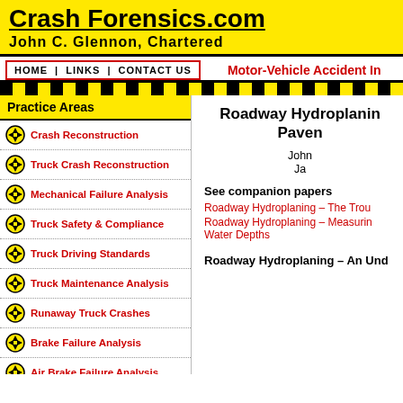Crash Forensics.com
John C. Glennon, Chartered
Motor-Vehicle Accident In
HOME | LINKS | CONTACT US
Practice Areas
Crash Reconstruction
Truck Crash Reconstruction
Mechanical Failure Analysis
Truck Safety & Compliance
Truck Driving Standards
Truck Maintenance Analysis
Runaway Truck Crashes
Brake Failure Analysis
Air Brake Failure Analysis
Wheel & Hub Failure Analysis
Roadway Hydroplaning Pavem
John
Ja
See companion papers
Roadway Hydroplaning – The Trou
Roadway Hydroplaning – Measuring Water Depths
Roadway Hydroplaning – An Und